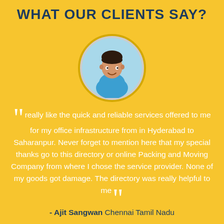WHAT OUR CLIENTS SAY?
[Figure (illustration): Circular avatar illustration of a young man in a blue t-shirt with a light blue background, inside a circular frame with a golden border ring]
“really like the quick and reliable services offered to me for my office infrastructure from in Hyderabad to Saharanpur. Never forget to mention here that my special thanks go to this directory or online Packing and Moving Company from where I chose the service provider. None of my goods got damage. The directory was really helpful to me”
- Ajit Sangwan Chennai Tamil Nadu